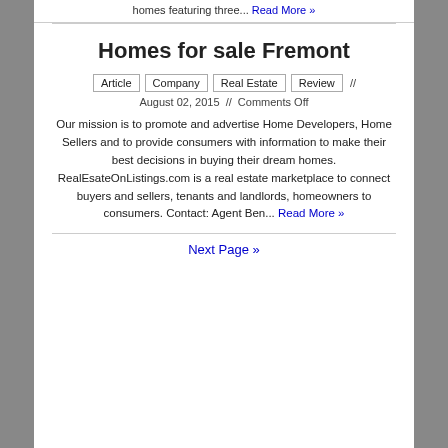homes featuring three... Read More »
Homes for sale Fremont
Article  Company  Real Estate  Review  //  August 02, 2015  //  Comments Off
Our mission is to promote and advertise Home Developers, Home Sellers and to provide consumers with information to make their best decisions in buying their dream homes. RealEsateOnListings.com is a real estate marketplace to connect buyers and sellers, tenants and landlords, homeowners to consumers. Contact: Agent Ben... Read More »
Next Page »